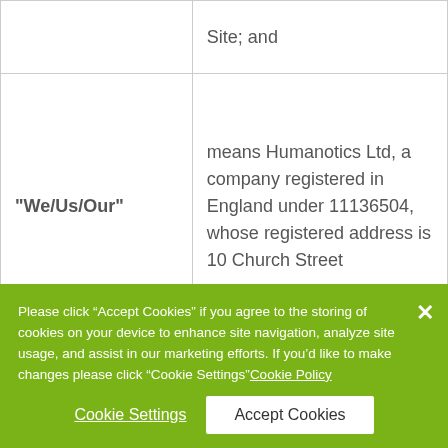| Term | Definition |
| --- | --- |
|  | Site; and |
| "We/Us/Our" | means Humanotics Ltd, a company registered in England under 11136504, whose registered address is 10 Church Street |
Please click “Accept Cookies” if you agree to the storing of cookies on your device to enhance site navigation, analyze site usage, and assist in our marketing efforts. If you’d like to make changes please click “Cookie Settings” Cookie Policy